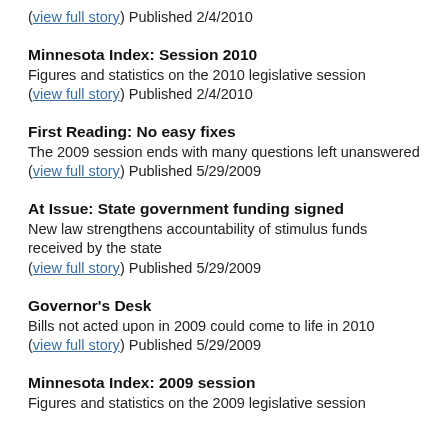(view full story) Published 2/4/2010
Minnesota Index: Session 2010
Figures and statistics on the 2010 legislative session (view full story) Published 2/4/2010
First Reading: No easy fixes
The 2009 session ends with many questions left unanswered (view full story) Published 5/29/2009
At Issue: State government funding signed
New law strengthens accountability of stimulus funds received by the state (view full story) Published 5/29/2009
Governor's Desk
Bills not acted upon in 2009 could come to life in 2010 (view full story) Published 5/29/2009
Minnesota Index: 2009 session
Figures and statistics on the 2009 legislative session